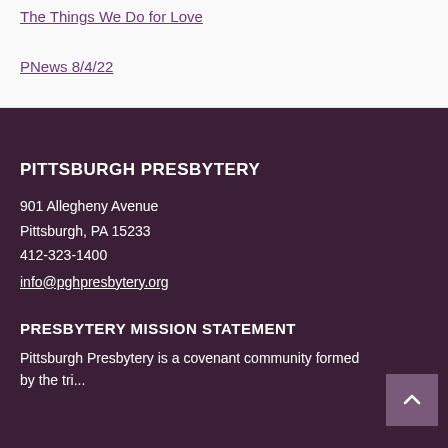The Things We Do for Love
PNews 8/4/22
PITTSBURGH PRESBYTERY
901 Allegheny Avenue
Pittsburgh, PA 15233
412-323-1400
info@pghpresbytery.org
PRESBYTERY MISSION STATEMENT
Pittsburgh Presbytery is a covenant community formed by the tri...